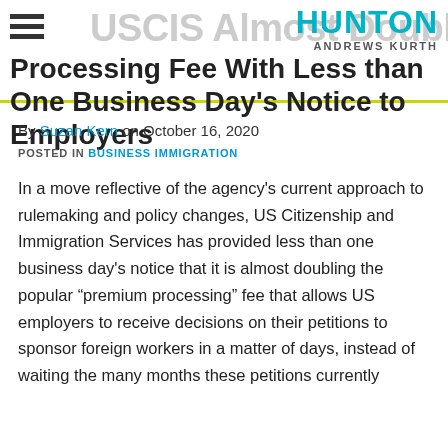HUNTON ANDREWS KURTH
USCIS Almost Doubles Premium Processing Fee With Less than One Business Day's Notice to Employers
By Suzan Kern on October 16, 2020
POSTED IN BUSINESS IMMIGRATION
In a move reflective of the agency's current approach to rulemaking and policy changes, US Citizenship and Immigration Services has provided less than one business day's notice that it is almost doubling the popular “premium processing” fee that allows US employers to receive decisions on their petitions to sponsor foreign workers in a matter of days, instead of waiting the many months these petitions currently